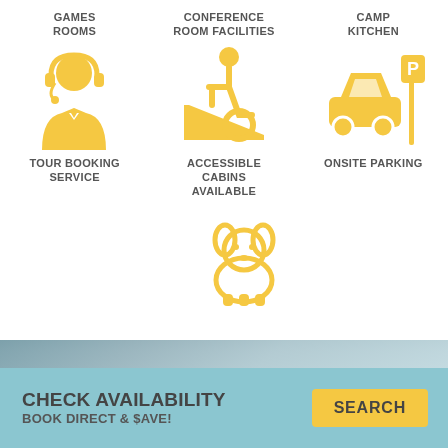[Figure (infographic): Six facility icons arranged in a 3x2 grid. Row 1: Games Rooms (headset/person icon), Conference Room Facilities (wheelchair accessibility icon), Camp Kitchen (car with parking sign icon). Row 2: Tour Booking Service, Accessible Cabins Available, Onsite Parking. Row 3: Pet-friendly icon (dog).]
CHECK AVAILABILITY
BOOK DIRECT & $AVE!
SEARCH